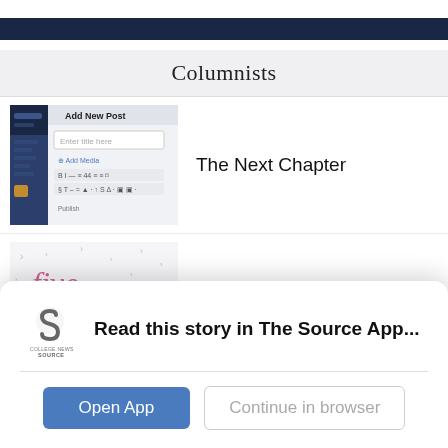Columnists
[Figure (screenshot): Screenshot of WordPress add new post interface showing 'Add New Post' header and 'Enter title here' field with formatting toolbar]
The Next Chapter
[Figure (illustration): Book cover or graphic with text 'five years from' in pink/magenta serif font on white background with small bird silhouettes pattern]
Dear Me in Five Years...
[Figure (logo): College News Source app logo - stylized S shape in gray]
Read this story in The Source App...
Open App
Continue in browser